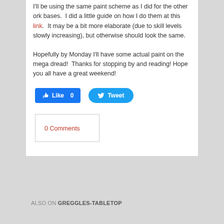I'll be using the same paint scheme as I did for the other ork bases.  I did a little guide on how I do them at this link.  It may be a bit more elaborate (due to skill levels slowly increasing), but otherwise should look the same.
Hopefully by Monday I'll have some actual paint on the mega dread!  Thanks for stopping by and reading! Hope you all have a great weekend!
[Figure (other): Social sharing buttons: Facebook Like (count 0) and Twitter Tweet]
0 Comments
ALSO ON GREGGLES-TABLETOP